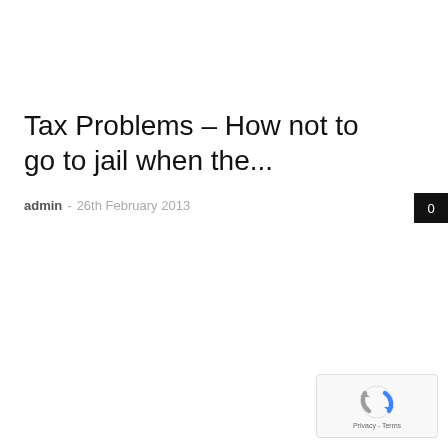Tax Problems – How not to go to jail when the...
admin · 26th February 2013
[Figure (other): reCAPTCHA widget with Google logo, Privacy and Terms links]